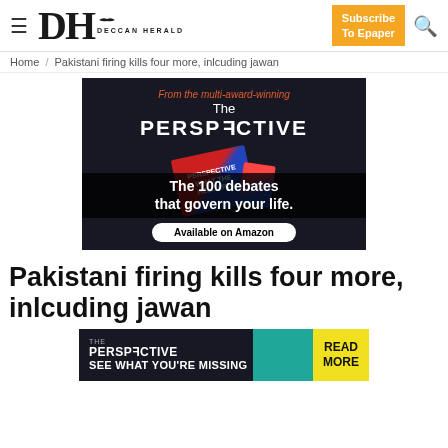DH DECCAN HERALD | Subscribe To Epaper
Home / Pakistani firing kills four more, inlcuding jawan
[Figure (photo): Advertisement for 'The Perspective' book by Daniel Ravner. Dark background with book cover showing red and blue colors. Text reads: 'From the multi-award-winning', 'The PERSPECTIVE', 'WHAT THE HELL AR...' on book, 'The 100 debates that govern your life.', 'Available on Amazon']
Pakistani firing kills four more, inlcuding jawan
[Figure (photo): Advertisement banner for 'The Perspective'. Teal/dark background. Text: 'THE PERSPECTIVE', 'SEE WHAT YOU\'RE MISSING'. Yellow box on right with 'READ MORE'.]